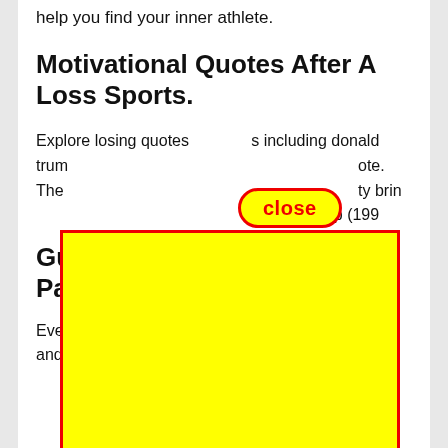help you find your inner athlete.
Motivational Quotes After A Loss Sports.
Explore losing quotes and sports including donald trump... ote. The ...ty bring... aap (1990...
[Figure (other): Close button UI element — a pill-shaped button with red border on yellow background, labeled 'close' in bold red text]
[Figure (other): Large yellow rectangle with red border overlay covering part of the page content]
Gu... Pa...
Ever... er and share sports quotes after a loss. Basketball is